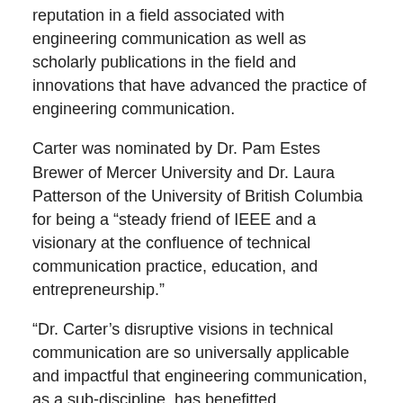reputation in a field associated with engineering communication as well as scholarly publications in the field and innovations that have advanced the practice of engineering communication.
Carter was nominated by Dr. Pam Estes Brewer of Mercer University and Dr. Laura Patterson of the University of British Columbia for being a “steady friend of IEEE and a visionary at the confluence of technical communication practice, education, and entrepreneurship.”
“Dr. Carter’s disruptive visions in technical communication are so universally applicable and impactful that engineering communication, as a sub-discipline, has benefitted immeasurably from her contributions,” her nomination letter said. “She has shared these visions in both scholarly publications and practical applications that will impact the field of technical and engineering communication for years to come. We believe that Dr. Carter’s work is so impactful to the broader scope of technical communication that it significantly affects engineering communication.”
Carter joined with Baehr in 2013 as a professor scholar in f...